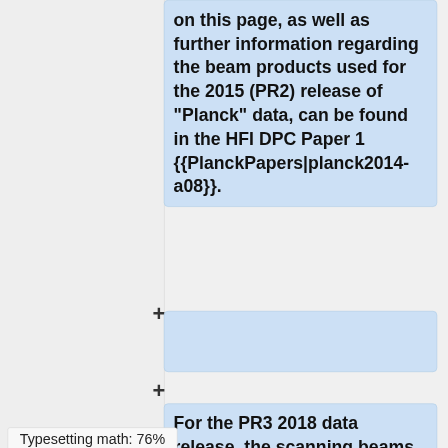on this page, as well as further information regarding the beam products used for the 2015 (PR2) release of "Planck" data, can be found in the HFI DPC Paper 1 {{PlanckPapers|planck2014-a08}}.
For the PR3 2018 data release, the scanning beams are the same as for the
Typesetting math: 76%